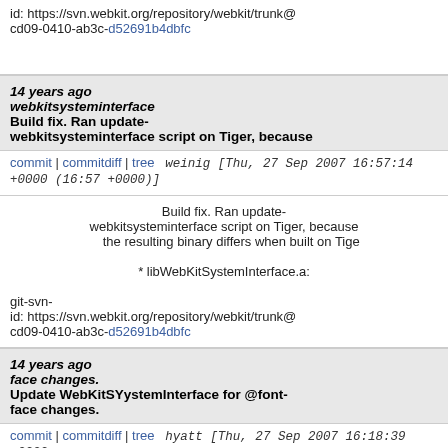id: https://svn.webkit.org/repository/webkit/trunk@cd09-0410-ab3c-d52691b4dbfc
14 years ago webkitsysteminterface   Build fix. Ran update-webkitsysteminterface script on Tiger, because
commit | commitdiff | tree   weinig [Thu, 27 Sep 2007 16:57:14 +0000 (16:57 +0000)]
Build fix. Ran update-webkitsysteminterface script on Tiger, because the resulting binary differs when built on Tige

* libWebKitSystemInterface.a:

git-svn-id: https://svn.webkit.org/repository/webkit/trunk@cd09-0410-ab3c-d52691b4dbfc
14 years ago face changes.   Update WebKitSYystemInterface for @font-face changes.
commit | commitdiff | tree   hyatt [Thu, 27 Sep 2007 16:18:39 +0000 (16:18 +0000)]
Update WebKitSYystemInterface for @font-face changes.

* WebKitSystemInterface.h: